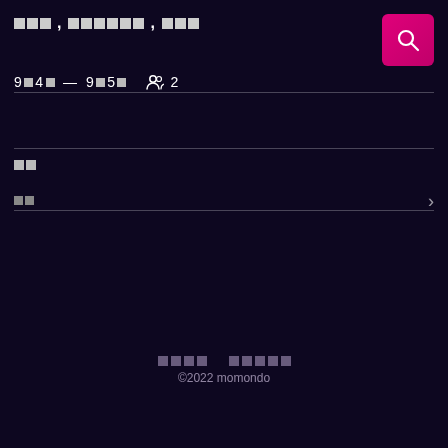███, ██████, ███
9█4█ — 9█5█   👥 2
██
█ █
████    █████
©2022 momondo